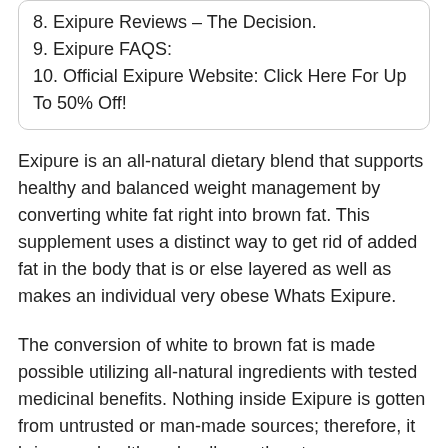8. Exipure Reviews – The Decision.
9. Exipure FAQS:
10. Official Exipure Website: Click Here For Up To 50% Off!
Exipure is an all-natural dietary blend that supports healthy and balanced weight management by converting white fat right into brown fat. This supplement uses a distinct way to get rid of added fat in the body that is or else layered as well as makes an individual very obese Whats Exipure.
The conversion of white to brown fat is made possible utilizing all-natural ingredients with tested medicinal benefits. Nothing inside Exipure is gotten from untrusted or man-made sources; therefore, it brings no health and wellness threats.